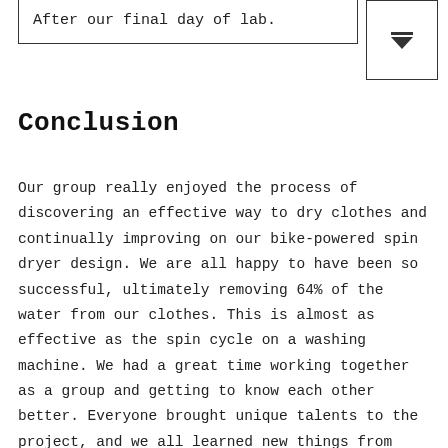After our final day of lab.
Conclusion
Our group really enjoyed the process of discovering an effective way to dry clothes and continually improving on our bike-powered spin dryer design. We are all happy to have been so successful, ultimately removing 64% of the water from our clothes. This is almost as effective as the spin cycle on a washing machine. We had a great time working together as a group and getting to know each other better. Everyone brought unique talents to the project, and we all learned new things from each other. It was also great interacting with other groups and seeing everyone's projects change throughout our ten